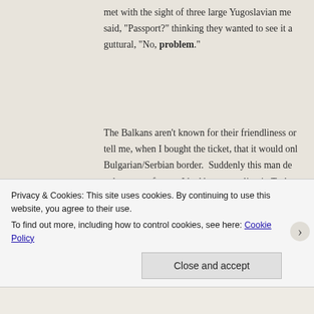met with the sight of three large Yugoslavian me said, "Passport?" thinking they wanted to see it a guttural, "No, problem."
The Balkans aren't known for their friendliness or tell me, when I bought the ticket, that it would onl Bulgarian/Serbian border.  Suddenly this man de paltry sum of zero.  I had been traveling in Turke really no reason for me to have Euros on me.  He care.  I frantically searched my bags for Euros, b Bulgarian money.  I had only 26 Bulgarian Leva l Euro.  I gave him all my money and attempted to me a stern, "One minute," and left me alone with
Privacy & Cookies: This site uses cookies. By continuing to use this website, you agree to their use.
To find out more, including how to control cookies, see here: Cookie Policy